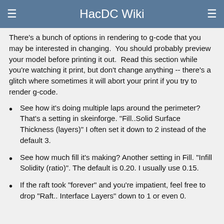HacDC Wiki
There's a bunch of options in rendering to g-code that you may be interested in changing.  You should probably preview your model before printing it out.  Read this section while you're watching it print, but don't change anything -- there's a glitch where sometimes it will abort your print if you try to render g-code.
See how it's doing multiple laps around the perimeter? That's a setting in skeinforge. "Fill..Solid Surface Thickness (layers)" I often set it down to 2 instead of the default 3.
See how much fill it's making? Another setting in Fill. "Infill Solidity (ratio)". The default is 0.20. I usually use 0.15.
If the raft took "forever" and you're impatient, feel free to drop "Raft.. Interface Layers" down to 1 or even 0.